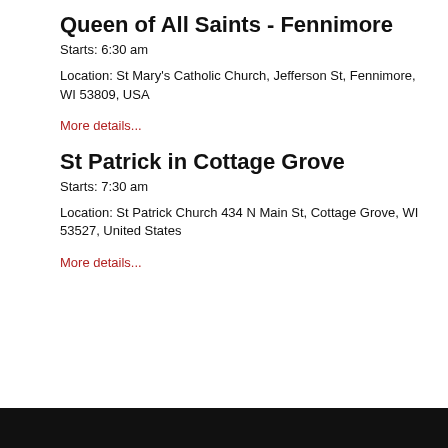Queen of All Saints - Fennimore
Starts: 6:30 am
Location: St Mary's Catholic Church, Jefferson St, Fennimore, WI 53809, USA
More details...
St Patrick in Cottage Grove
Starts: 7:30 am
Location: St Patrick Church 434 N Main St, Cottage Grove, WI 53527, United States
More details...